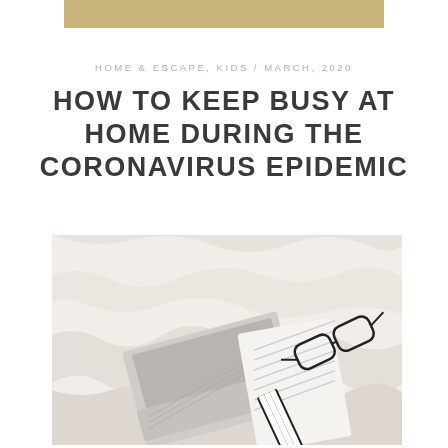[Figure (other): Gold/tan horizontal bar used as decorative header banner]
HOME & ESCAPE, KIDS / MARCH, 2020
HOW TO KEEP BUSY AT HOME DURING THE CORONAVIRUS EPIDEMIC
[Figure (photo): Flat-lay photo of a laptop computer and an open notebook with eyeglasses on white rumpled fabric/bedding, viewed from above]